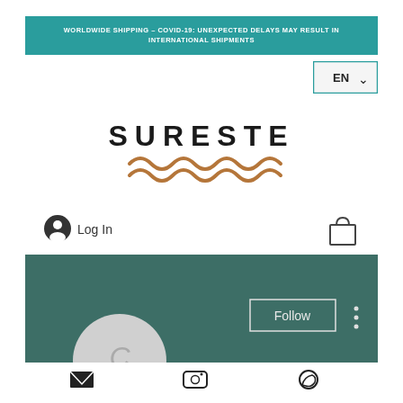WORLDWIDE SHIPPING – COVID-19: UNEXPECTED DELAYS MAY RESULT IN INTERNATIONAL SHIPMENTS
[Figure (screenshot): EN language selector dropdown button with teal border]
[Figure (logo): SURESTE brand logo with text and copper wave design]
[Figure (screenshot): Log In button with user icon and shopping bag icon]
[Figure (screenshot): Dark teal profile section with Follow button, three-dot menu, and circular C avatar. Bottom social icons: email, Instagram, WhatsApp]